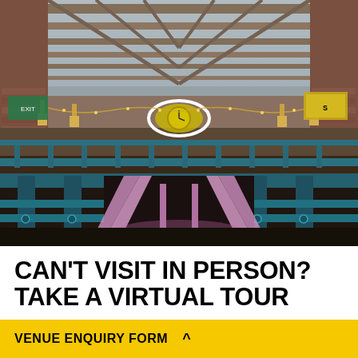[Figure (photo): Interior of a large Victorian-style venue with exposed wooden roof trusses and glass skylights, teal metal balcony railings, hanging lanterns, a large clock centerpiece, brick walls, and pink-lit staircases visible on the lower level.]
CAN'T VISIT IN PERSON? TAKE A VIRTUAL TOUR
VENUE ENQUIRY FORM ^